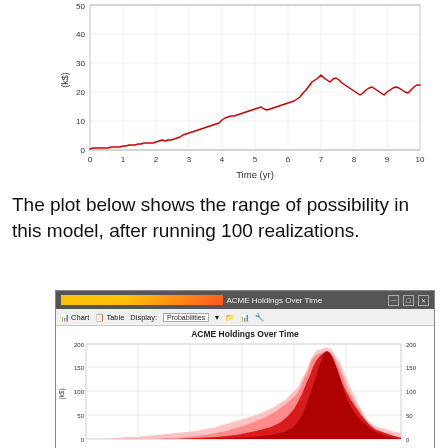[Figure (continuous-plot): A line chart showing a single realization of ACME Holdings Over Time. The red line starts near 0, stays flat until about year 2, then rises with volatility to peak around 40 k$ at year 6.5, then fluctuates between 20-40 k$ through year 10.]
The plot below shows the range of possibility in this model, after running 100 realizations.
[Figure (screenshot): Screenshot of ACME Holdings Over Time application window showing a probability fan chart. The chart displays 100 realizations as a red fan/area chart growing from near 0 to a spread of 0-200 k$ by year 10. Y-axis labeled (k$) from 0 to 200 on both sides. Title: ACME Holdings Over Time.]